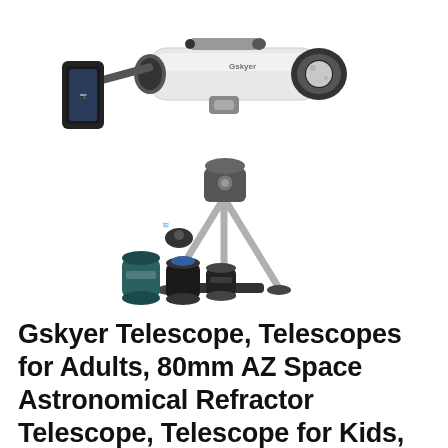[Figure (photo): Product photo of a Gskyer telescope kit on white background, showing a white refractor telescope on a tripod with a phone mount adapter, Bluetooth remote, and multiple eyepiece accessories laid out in front]
Gskyer Telescope, Telescopes for Adults, 80mm AZ Space Astronomical Refractor Telescope, Telescope for Kids, Telescopes for Adults Astronomy, Gorman